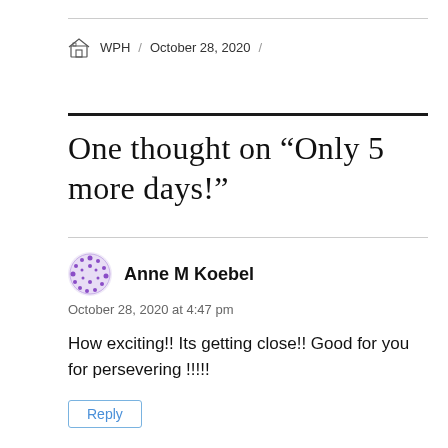WPH / October 28, 2020 /
One thought on “Only 5 more days!”
Anne M Koebel
October 28, 2020 at 4:47 pm
How exciting!! Its getting close!! Good for you for persevering !!!!!
Reply